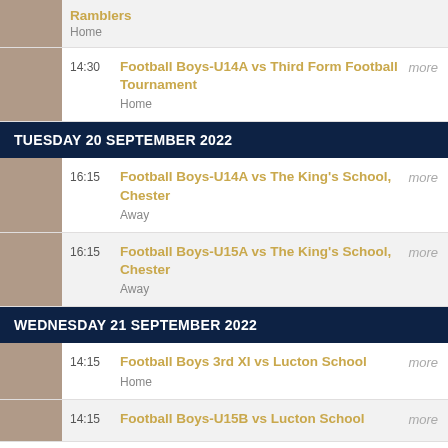Ramblers | Home
14:30 | Football Boys-U14A vs Third Form Football Tournament | Home
TUESDAY 20 SEPTEMBER 2022
16:15 | Football Boys-U14A vs The King's School, Chester | Away
16:15 | Football Boys-U15A vs The King's School, Chester | Away
WEDNESDAY 21 SEPTEMBER 2022
14:15 | Football Boys 3rd XI vs Lucton School | Home
14:15 | Football Boys-U15B vs Lucton School